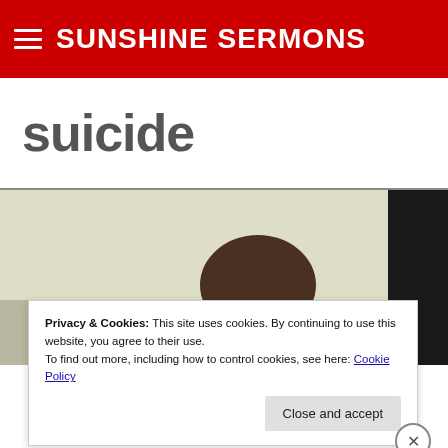SUNSHINE SERMONS
suicide
[Figure (photo): Photo of back of a person's head outdoors, with a dark panel on the right side of the image]
Privacy & Cookies: This site uses cookies. By continuing to use this website, you agree to their use.
To find out more, including how to control cookies, see here: Cookie Policy
Close and accept
Advertisements